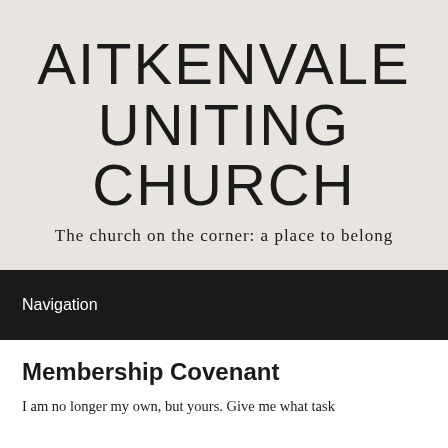AITKENVALE UNITING CHURCH
The church on the corner: a place to belong
Navigation
Membership Covenant
I am no longer my own, but yours. Give me what task